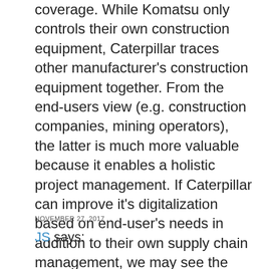coverage. While Komatsu only controls their own construction equipment, Caterpillar traces other manufacturer's construction equipment together. From the end-users view (e.g. construction companies, mining operators), the latter is much more valuable because it enables a holistic project management. If Caterpillar can improve it's digitalization based on end-user's needs in addition to their own supply chain management, we may see the company evolve their already dominant position in the market.
NOVEMBER 27, 2017
JS says: